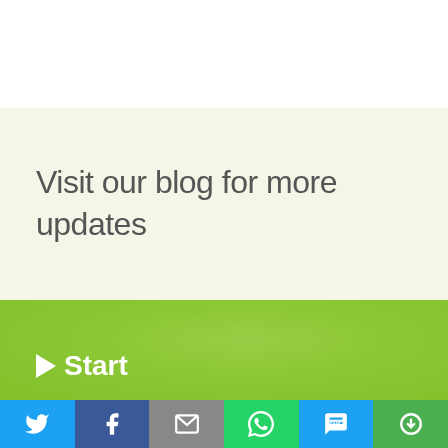Visit our blog for more updates
[Figure (photo): Green-tinted photo of wooden building blocks being stacked by a hand, with a bright lime green color overlay]
▶ Start
[Figure (infographic): Social sharing bar with six icons: Twitter (blue), Facebook (dark blue), Email (grey), WhatsApp (green), SMS (blue), and a share/refresh icon (green)]